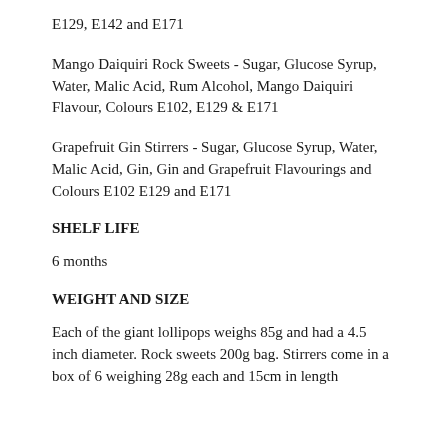E129, E142 and E171
Mango Daiquiri Rock Sweets - Sugar, Glucose Syrup, Water, Malic Acid, Rum Alcohol, Mango Daiquiri Flavour, Colours E102, E129 & E171
Grapefruit Gin Stirrers - Sugar, Glucose Syrup, Water, Malic Acid, Gin, Gin and Grapefruit Flavourings and Colours E102 E129 and E171
SHELF LIFE
6 months
WEIGHT AND SIZE
Each of the giant lollipops weighs 85g and had a 4.5 inch diameter. Rock sweets 200g bag. Stirrers come in a box of 6 weighing 28g each and 15cm in length